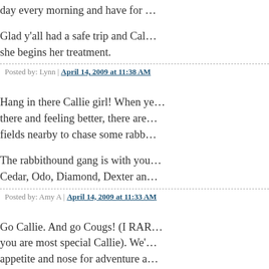day every morning and have for …
Glad y'all had a safe trip and Cal… she begins her treatment.
Posted by: Lynn | April 14, 2009 at 11:38 AM
Hang in there Callie girl! When ye… there and feeling better, there are… fields nearby to chase some rabb…
The rabbithound gang is with you… Cedar, Odo, Diamond, Dexter an…
Posted by: Amy A | April 14, 2009 at 11:33 AM
Go Callie. And go Cougs! (I RAR… you are most special Callie). We'… appetite and nose for adventure a… through. Let's pick a fight with thi…